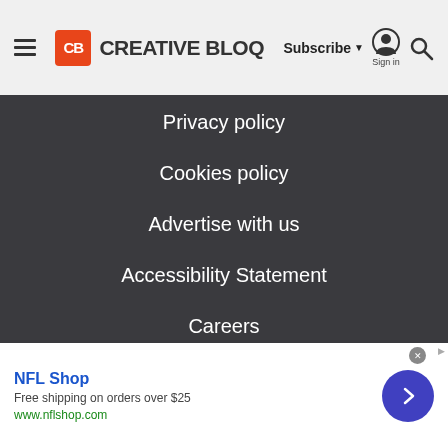Creative Bloq - Subscribe | Sign in
Privacy policy
Cookies policy
Advertise with us
Accessibility Statement
Careers
Do not sell my info
© Future Publishing Limited Quay House, The Ambury, Bath
[Figure (screenshot): Advertisement banner for NFL Shop: Free shipping on orders over $25, www.nflshop.com, with a blue circular arrow button]